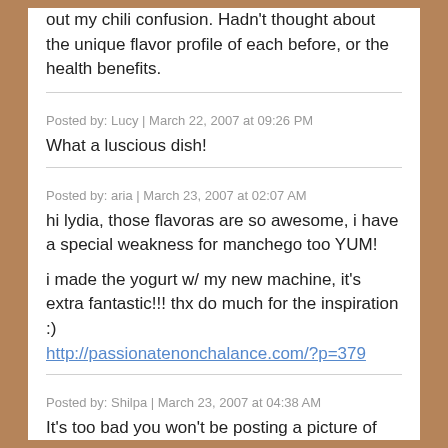out my chili confusion. Hadn't thought about the unique flavor profile of each before, or the health benefits.
Posted by: Lucy | March 22, 2007 at 09:26 PM
What a luscious dish!
Posted by: aria | March 23, 2007 at 02:07 AM
hi lydia, those flavoras are so awesome, i have a special weakness for manchego too YUM!

i made the yogurt w/ my new machine, it's extra fantastic!!! thx do much for the inspiration :)
http://passionatenonchalance.com/?p=379
Posted by: Shilpa | March 23, 2007 at 04:38 AM
It's too bad you won't be posting a picture of those